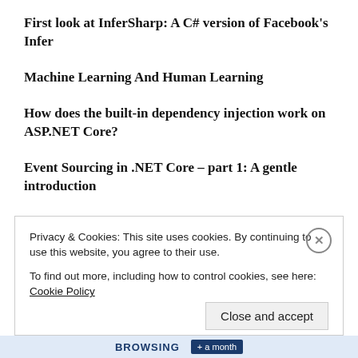First look at InferSharp: A C# version of Facebook's Infer
Machine Learning And Human Learning
How does the built-in dependency injection work on ASP.NET Core?
Event Sourcing in .NET Core – part 1: A gentle introduction
A First Look At Azure Synapse Analytics
Whatsapp alert service by World Health
Privacy & Cookies: This site uses cookies. By continuing to use this website, you agree to their use. To find out more, including how to control cookies, see here: Cookie Policy
Close and accept